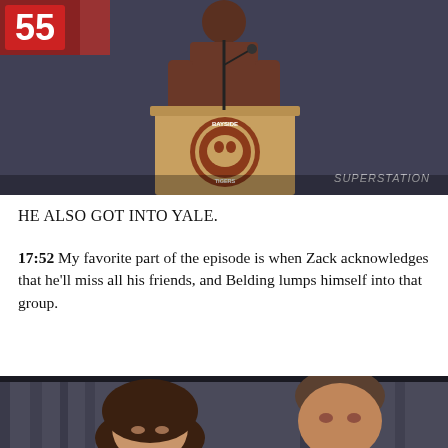[Figure (photo): Screenshot from a TV show (Saved by the Bell) showing a person standing at a wooden podium with a Bayside High School tiger emblem logo on the front. A 'SUPERSTATION' watermark is visible in the lower right of the image.]
HE ALSO GOT INTO YALE.
17:52 My favorite part of the episode is when Zack acknowledges that he'll miss all his friends, and Belding lumps himself into that group.
[Figure (photo): Screenshot from a TV show showing two people, a woman with curly hair on the left and a man on the right, in front of a curtained background.]